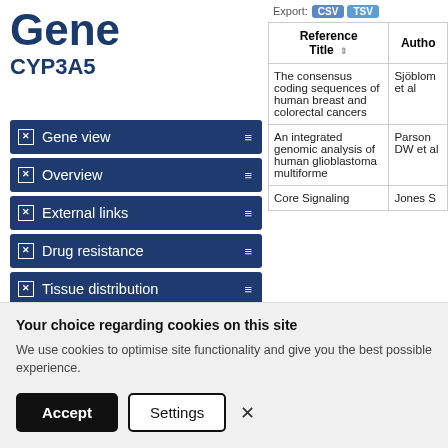Gene
CYP3A5
Gene view
Overview
External links
Drug resistance
Tissue distribution
Genome browser
Mutation distribution
| Reference Title | Author |
| --- | --- |
| The consensus coding sequences of human breast and colorectal cancers | Sjöblom et al |
| An integrated genomic analysis of human glioblastoma multiforme | Parson DW et al |
| Core Signaling | Jones S |
Your choice regarding cookies on this site
We use cookies to optimise site functionality and give you the best possible experience.